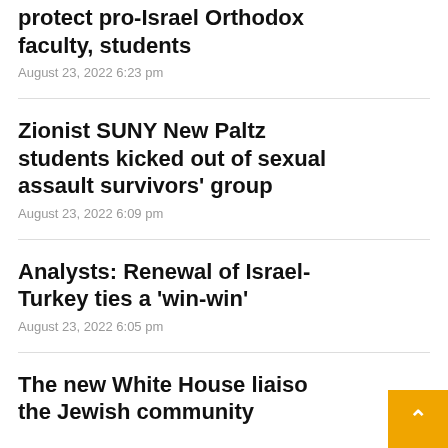protect pro-Israel Orthodox faculty, students
August 23, 2022 6:23 pm
Zionist SUNY New Paltz students kicked out of sexual assault survivors' group
August 23, 2022 6:09 pm
Analysts: Renewal of Israel-Turkey ties a 'win-win'
August 23, 2022 6:05 pm
The new White House liaiso the Jewish community